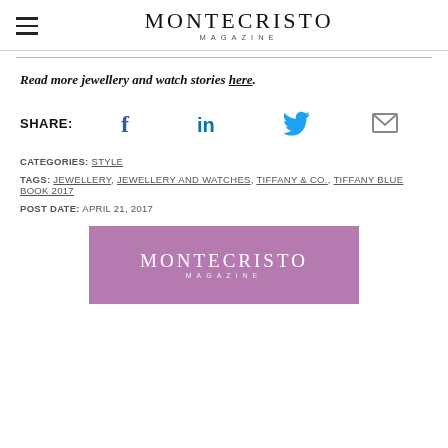MONTECRISTO MAGAZINE
Read more jewellery and watch stories here.
SHARE:
[Figure (infographic): Social share icons: Facebook, LinkedIn, Twitter, Email]
CATEGORIES: STYLE
TAGS: JEWELLERY, JEWELLERY AND WATCHES, TIFFANY & CO., TIFFANY BLUE BOOK 2017
POST DATE: APRIL 21, 2017
[Figure (logo): Montecristo Magazine logo on purple/mauve background]